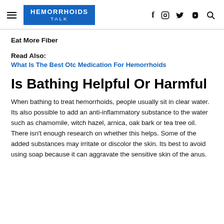HEMORRHOIDS TALK
Eat More Fiber
Read Also:
What Is The Best Otc Medication For Hemorrhoids
Is Bathing Helpful Or Harmful
When bathing to treat hemorrhoids, people usually sit in clear water. Its also possible to add an anti-inflammatory substance to the water such as chamomile, witch hazel, arnica, oak bark or tea tree oil. There isn't enough research on whether this helps. Some of the added substances may irritate or discolor the skin. Its best to avoid using soap because it can aggravate the sensitive skin of the anus.